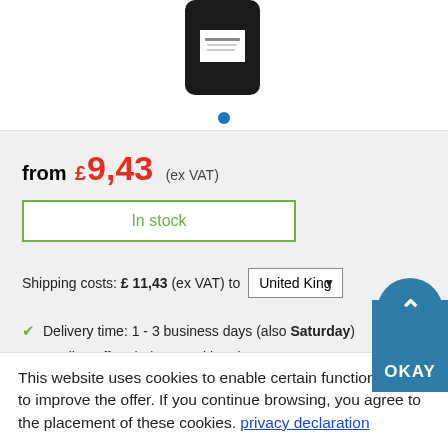[Figure (photo): Product photo of a small black bottle with white label, partially cropped at top of page]
from £ 9,43 (ex VAT)
In stock
Shipping costs: £ 11,43 (ex VAT) to United King ▼
✔ Delivery time: 1 - 3 business days (also Saturday)
✔ Cooling-off period: 14 working days
This website uses cookies to enable certain functions and to improve the offer. If you continue browsing, you agree to the placement of these cookies. privacy declaration